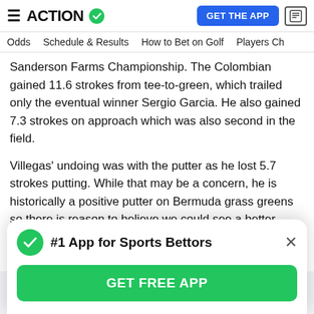ACTION (with checkmark logo) | GET THE APP | news icon
Odds   Schedule & Results   How to Bet on Golf   Players Ch
Sanderson Farms Championship. The Colombian gained 11.6 strokes from tee-to-green, which trailed only the eventual winner Sergio Garcia. He also gained 7.3 strokes on approach which was also second in the field.
Villegas' undoing was with the putter as he lost 5.7 strokes putting. While that may be a concern, he is historically a positive putter on Bermuda grass greens so there is reason to believe we could see a better performance this week.
When analyzing leaderboard and tournament correlation
[Figure (screenshot): Popup modal with green checkmark, title '#1 App for Sports Bettors', close X button, and green 'GET FREE APP' button]
#1 App for Sports Bettors
GET FREE APP